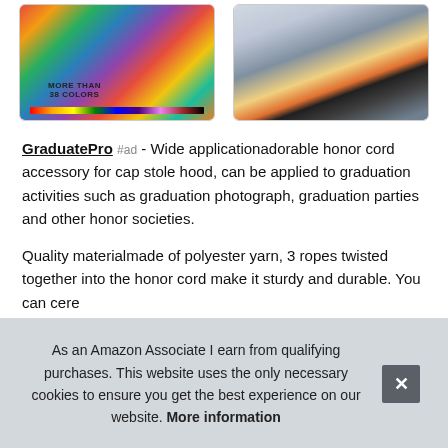[Figure (photo): Two product listing images side by side. Left: colorful graduation honor cords/tassels in many colors with text 'MORE THAN 38 COLORS' and a color swatch bar. Right: Photo of four graduates in caps and gowns celebrating.]
GraduatePro #ad - Wide applicationadorable honor cord accessory for cap stole hood, can be applied to graduation activities such as graduation photograph, graduation parties and other honor societies.
Quality materialmade of polyester yarn, 3 ropes twisted together into the honor cord make it sturdy and durable. You can cere
As an Amazon Associate I earn from qualifying purchases. This website uses the only necessary cookies to ensure you get the best experience on our website. More information